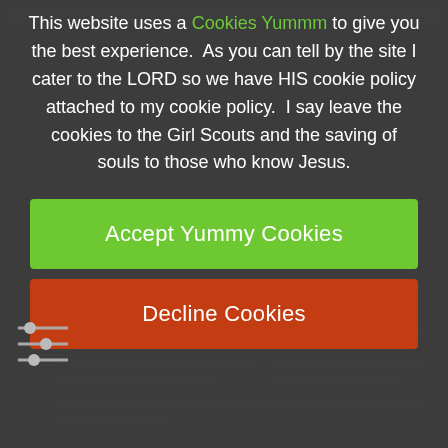This website uses a Cookies Yummm to give you the best experience.  As you can tell by the site I cater to the LORD so we have HIS cookie policy attached to my cookie policy.  I say leave the cookies to the Girl Scouts and the saving of souls to those who know Jesus.
[Figure (other): Green button labeled 'Accept Yummy Cookies']
[Figure (other): Red/orange button labeled 'Decline Cookies']